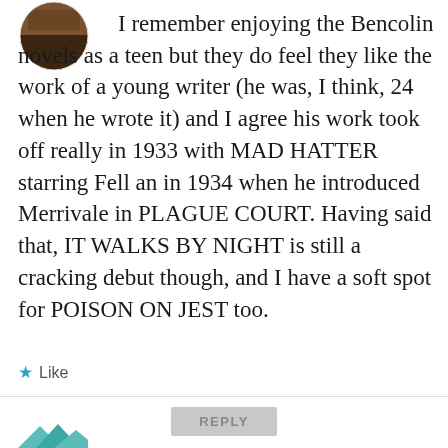[Figure (photo): Circular avatar photo showing a dark brown/earthy toned image, partially visible at top left]
I remember enjoying the Bencolin novels as a teen but they do feel they like the work of a young writer (he was, I think, 24 when he wrote it) and I agree his work took off really in 1933 with MAD HATTER starring Fell an in 1934 when he introduced Merrivale in PLAGUE COURT. Having said that, IT WALKS BY NIGHT is still a cracking debut though, and I have a soft spot for POISON ON JEST too.
Like
REPLY
[Figure (photo): Partial circular avatar visible at bottom left, teal/green mountain shapes]